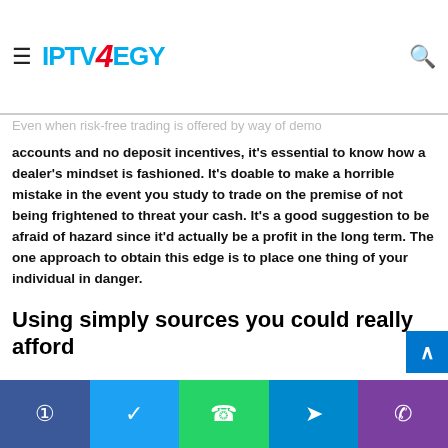Forex for the primary time
[Figure (logo): IPTV4EGY logo with hamburger menu icon on left and search icon on right]
Even when risk-free trading is offered by way of demo accounts and no deposit incentives, it's essential to know how a dealer's mindset is fashioned. It's doable to make a horrible mistake in the event you study to trade on the premise of not being frightened to threat your cash. It's a good suggestion to be afraid of hazard since it'd actually be a profit in the long term. The one approach to obtain this edge is to place one thing of your individual in danger.
Using simply sources you could really afford
Most people who go into Forex trading do it as a pastime
Facebook  Twitter  WhatsApp  Telegram  Phone